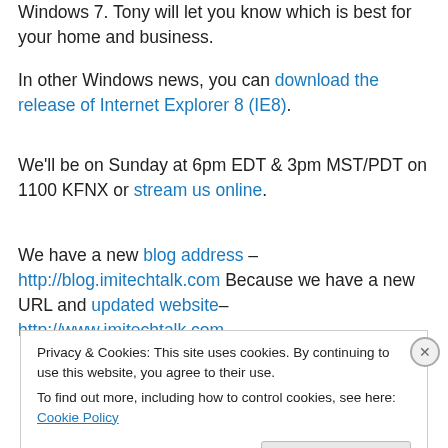Windows 7. Tony will let you know which is best for your home and business.
In other Windows news, you can download the release of Internet Explorer 8 (IE8).
We'll be on Sunday at 6pm EDT & 3pm MST/PDT on 1100 KFNX or stream us online.
We have a new blog address – http://blog.imitechtalk.com Because we have a new URL and updated website– http://www.imitechtalk.com
Privacy & Cookies: This site uses cookies. By continuing to use this website, you agree to their use. To find out more, including how to control cookies, see here: Cookie Policy
Close and accept